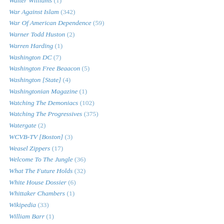Walter Williams (1)
War Against Islam (342)
War Of American Dependence (59)
Warner Todd Huston (2)
Warren Harding (1)
Washington DC (7)
Washington Free Beaacon (5)
Washington [State] (4)
Washingtonian Magazine (1)
Watching The Demoniacs (102)
Watching The Progressives (375)
Watergate (2)
WCVB-TV [Boston] (3)
Weasel Zippers (17)
Welcome To The Jungle (36)
What The Future Holds (32)
White House Dossier (6)
Whittaker Chambers (1)
Wikipedia (33)
William Barr (1)